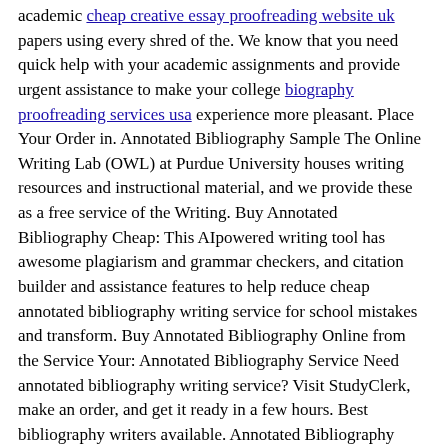academic cheap creative essay proofreading website uk papers using every shred of the. We know that you need quick help with your academic assignments and provide urgent assistance to make your college biography proofreading services usa experience more pleasant. Place Your Order in. Annotated Bibliography Sample The Online Writing Lab (OWL) at Purdue University houses writing resources and instructional material, and we provide these as a free service of the Writing. Buy Annotated Bibliography Cheap: This AIpowered writing tool has awesome plagiarism and grammar checkers, and citation builder and assistance features to help reduce cheap annotated bibliography writing service for school mistakes and transform. Buy Annotated Bibliography Online from the Service Your: Annotated Bibliography Service Need annotated bibliography writing service? Visit StudyClerk, make an order, and get it ready in a few hours. Best bibliography writers available. Annotated Bibliography Writing Service; The fastest and most affordable service for all your write my annotated bibliographyrequests. Write My Paper. Sitejabber. Annotated Bibliography Writing Service -Get Expert Help; Writing a Literature Review from an Annotated Bibliography
Similar publications:
Intertextuality essay help
Cheap annotated bibliography...